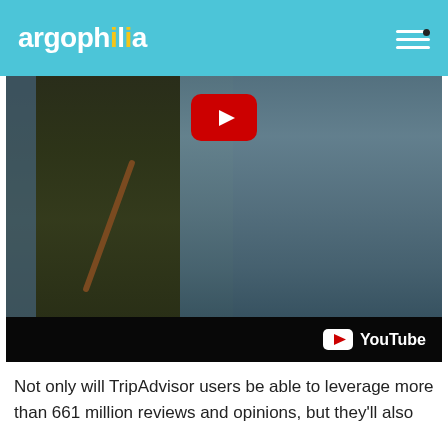argophilia
[Figure (screenshot): YouTube video thumbnail showing two people (a woman in a green dress with a brown crossbody bag and a man in a light blue shirt) with a large YouTube play button overlay in the center top. The bottom of the video has a dark bar with the YouTube logo and wordmark.]
Not only will TripAdvisor users be able to leverage more than 661 million reviews and opinions, but they'll also